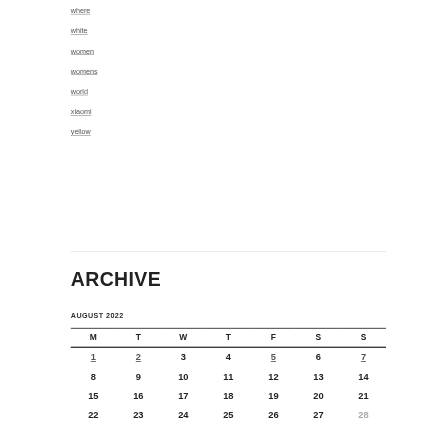where
white
women
womens
world
xiaomi
yellow
ARCHIVE
AUGUST 2022
| M | T | W | T | F | S | S |
| --- | --- | --- | --- | --- | --- | --- |
| 1 | 2 | 3 | 4 | 5 | 6 | 7 |
| 8 | 9 | 10 | 11 | 12 | 13 | 14 |
| 15 | 16 | 17 | 18 | 19 | 20 | 21 |
| 22 | 23 | 24 | 25 | 26 | 27 | 28 |